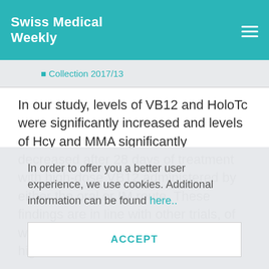Swiss Medical Weekly
⬛ Collection 2017/13
In our study, levels of VB12 and HoloTc were significantly increased and levels of Hcy and MMA significantly decreased after 28 days of treatment with high-dose VB12 administered by either the oral or IM route. These findings are in line with other trials, of which two assessed the effect of oral high-dose B12
In order to offer you a better user experience, we use cookies. Additional information can be found here..
ACCEPT